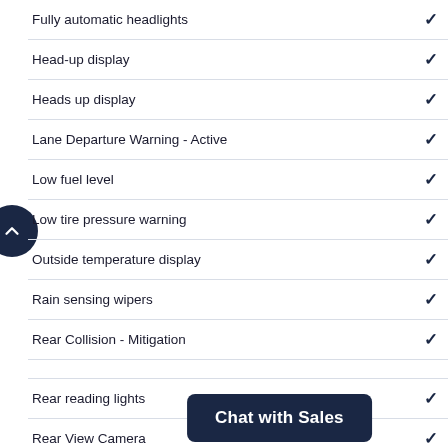| Feature | Included |
| --- | --- |
| Fully automatic headlights | ✓ |
| Head-up display | ✓ |
| Heads up display | ✓ |
| Lane Departure Warning - Active | ✓ |
| Low fuel level | ✓ |
| Low tire pressure warning | ✓ |
| Outside temperature display | ✓ |
| Rain sensing wipers | ✓ |
| Rear Collision - Mitigation | ✓ |
| Rear reading lights | ✓ |
| Rear View Camera | ✓ |
| Rear window defroster | ✓ |
| Rear window wiper | ✓ |
| Speed sensitive wipers | ✓ |
| Sun blinds | ✓ |
| Tachometer | ✓ |
| Traffic sign information | ✓ |
| Trip computer | ✓ |